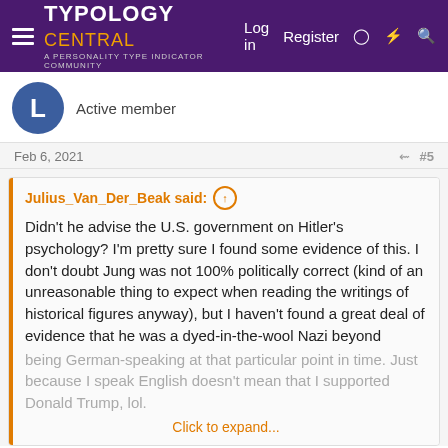TYPOLOGY CENTRAL - A Personality Type Indicator Community | Log in | Register
Active member
Feb 6, 2021  #5
Julius_Van_Der_Beak said: ↑
Didn't he advise the U.S. government on Hitler's psychology? I'm pretty sure I found some evidence of this. I don't doubt Jung was not 100% politically correct (kind of an unreasonable thing to expect when reading the writings of historical figures anyway), but I haven't found a great deal of evidence that he was a dyed-in-the-wool Nazi beyond being German-speaking at that particular point in time. Just because I speak English doesn't mean that I supported Donald Trump, lol.
Click to expand...
That is true to a certain extent but Jung was much more a proponent of the scientific method, crazy and all as that may seem, and borrowed way more from medicine than Freud did. Not least the idea of a homeostasis applying to the mind as much as the body and the mind-body relationship.